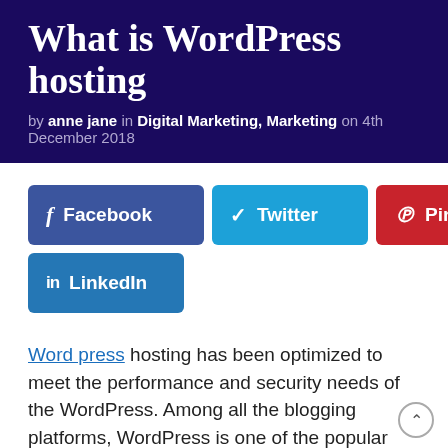What is WordPress hosting
by anne jane in Digital Marketing, Marketing on 4th December 2018
[Figure (other): Social sharing buttons: Facebook, Twitter, Pinterest, LinkedIn]
Word press hosting has been optimized to meet the performance and security needs of the WordPress. Among all the blogging platforms, WordPress is one of the popular blogging programs. However, WordPress is an online opensource website making